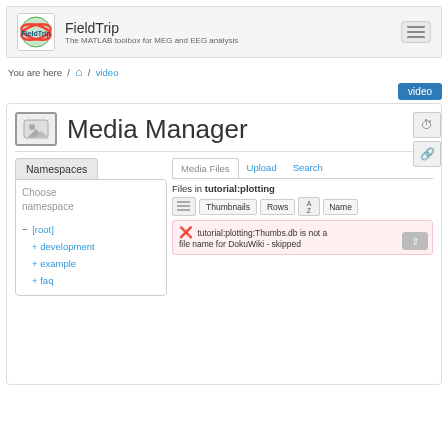FieldTrip — The MATLAB toolbox for MEG and EEG analysis
You are here / home / video
video
Media Manager
Namespaces
Choose namespace
− [root]
+ development
+ example
+ faq
Media Files  Upload  Search
Files in tutorial:plotting
Thumbnails  Rows  Name
✖ tutorial:plotting:Thumbs.db is not a valid file name for DokuWiki - skipped